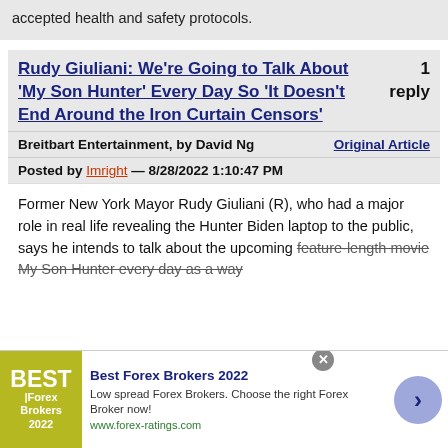accepted health and safety protocols.
Rudy Giuliani: We're Going to Talk About 'My Son Hunter' Every Day So 'It Doesn't End Around the Iron Curtain Censors'
1 reply
Breitbart Entertainment, by David Ng   Original Article
Posted by Imright — 8/28/2022 1:10:47 PM
Former New York Mayor Rudy Giuliani (R), who had a major role in real life revealing the Hunter Biden laptop to the public, says he intends to talk about the upcoming feature-length movie My Son Hunter every day as a way
[Figure (screenshot): Advertisement for Best Forex Brokers 2022 from www.forex-ratings.com]